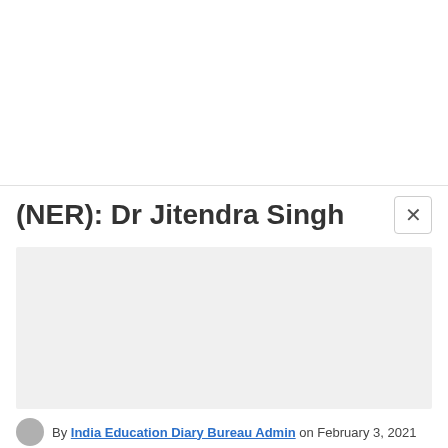(NER): Dr Jitendra Singh
[Figure (photo): Gray placeholder rectangle representing an image area in a modal dialog]
By India Education Diary Bureau Admin on February 3, 2021